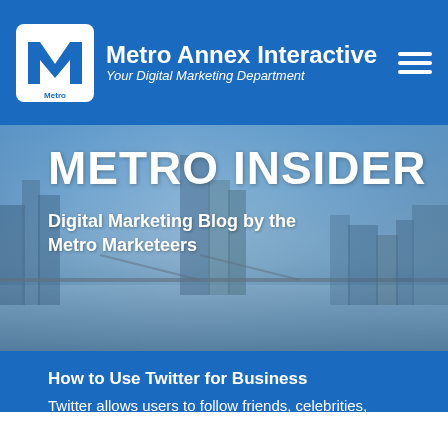Metro Annex Interactive — Your Digital Marketing Department
[Figure (screenshot): City skyline at dusk with blue overlay background for hero section]
METRO INSIDER
Digital Marketing Blog by the Metro Marketeers
How to Use Twitter for Business
Twitter allows users to follow friends, celebrities, businesses, news stations, and public services.